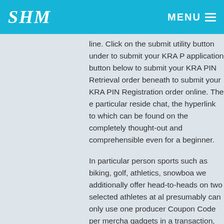SHM | MENU
line. Click on the submit utility button under to submit your KRA P application button below to submit your KRA PIN Retrieval order beneath to submit your KRA PIN Registration order online. The e particular reside chat, the hyperlink to which can be found on the completely thought-out and comprehensible even for a beginner.
In particular person sports such as biking, golf, athletics, snowboa we additionally offer head-to-heads on two selected athletes at al presumably can only use one producer Coupon Code per mercha gadgets in a transaction, you need two producers Coupon Code t
The bonus is in the marketplace upon getting accomplished your 112 KES if you'd like to find a way to declare a bonus. To get righ need to go to the bookmaker's official web site. After that, enter th fields.
A participant who desires to get all perks of 1xbet provides on the mannequin should run on Android four.4 and higher. You can obta Lenovo, ZTE, LG, Asus, and Sony. Once you're the beginner and e-mail handle. Moreover, all of the events are watched in your full